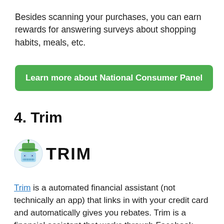Besides scanning your purchases, you can earn rewards for answering surveys about shopping habits, meals, etc.
Learn more about National Consumer Panel
4. Trim
[Figure (logo): Trim logo: robot mascot icon on left, bold text 'TRIM' on right]
Trim is a automated financial assistant (not technically an app) that links in with your credit card and automatically gives you rebates. Trim is a financial assistant that works through Facebook Messenger